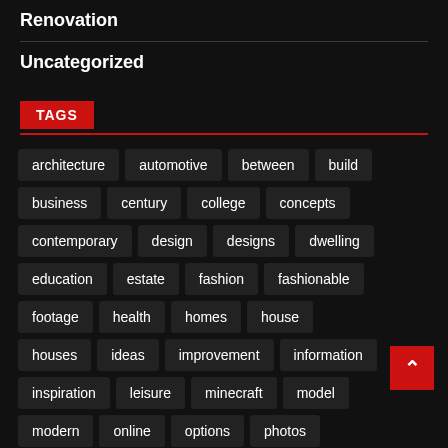Renovation
Uncategorized
TAGS
architecture
automotive
between
build
business
century
college
concepts
contemporary
design
designs
dwelling
education
estate
fashion
fashionable
footage
health
homes
house
houses
ideas
improvement
information
inspiration
leisure
minecraft
model
modern
online
options
photos